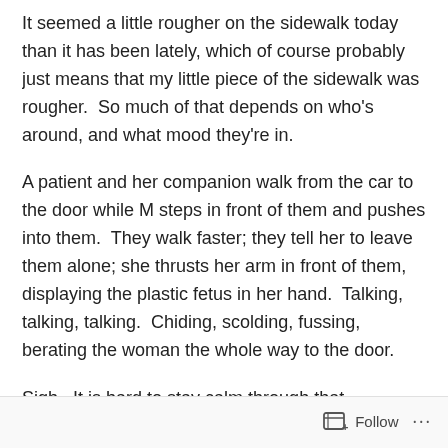It seemed a little rougher on the sidewalk today than it has been lately, which of course probably just means that my little piece of the sidewalk was rougher.  So much of that depends on who's around, and what mood they're in.
A patient and her companion walk from the car to the door while M steps in front of them and pushes into them.  They walk faster; they tell her to leave them alone; she thrusts her arm in front of them, displaying the plastic fetus in her hand.  Talking, talking, talking.  Chiding, scolding, fussing, berating the woman the whole way to the door.
Sigh.  It is hard to stay calm through that.
I'm more amused by the men they have sweeping and
Follow ···